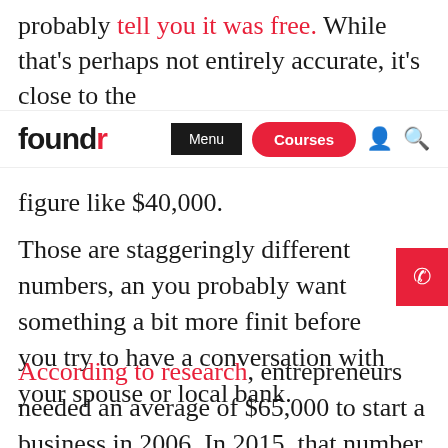probably tell you it was free. While that's perhaps not entirely accurate, it's close to the
foundr | Menu | Courses
figure like $40,000.
Those are staggeringly different numbers, and you probably want something a bit more finite before you try to have a conversation with your spouse or local bank.
According to research, entrepreneurs needed an average of $65,000 to start a business in 2006. In 2015, that number dropped to just $13,000.